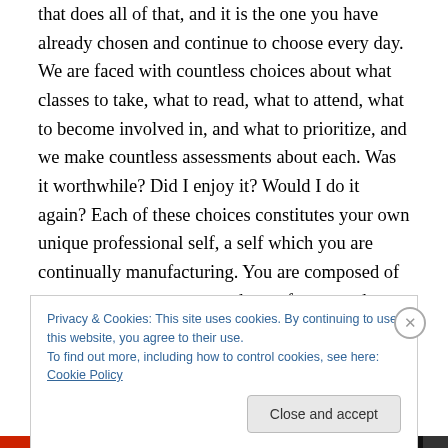that does all of that, and it is the one you have already chosen and continue to choose every day. We are faced with countless choices about what classes to take, what to read, what to attend, what to become involved in, and what to prioritize, and we make countless assessments about each. Was it worthwhile? Did I enjoy it? Would I do it again? Each of these choices constitutes your own unique professional self, a self which you are continually manufacturing. You are composed of your past, your present, and your future, and your future will undoubtedly be a continuation of your past and present. The best
Privacy & Cookies: This site uses cookies. By continuing to use this website, you agree to their use.
To find out more, including how to control cookies, see here: Cookie Policy